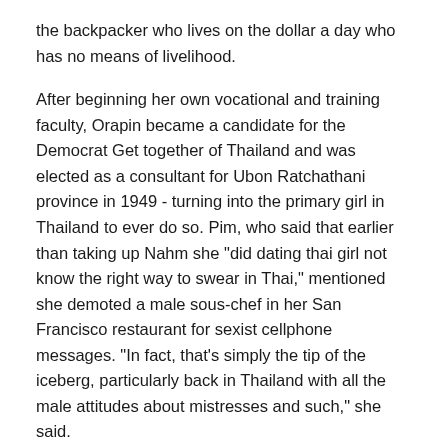the backpacker who lives on the dollar a day who has no means of livelihood.
After beginning her own vocational and training faculty, Orapin became a candidate for the Democrat Get together of Thailand and was elected as a consultant for Ubon Ratchathani province in 1949 - turning into the primary girl in Thailand to ever do so. Pim, who said that earlier than taking up Nahm she "did dating thai girl not know the right way to swear in Thai," mentioned she demoted a male sous-chef in her San Francisco restaurant for sexist cellphone messages. "In fact, that's simply the tip of the iceberg, particularly back in Thailand with all the male attitudes about mistresses and such," she said.
Half-breed Thai ladies that come from mixed families are significantly lovely. In this case, they don't look like regular Thai women. They manage to protect Thai figures and take European facial options. Women thai mail order brides human rights defenders in Thailand, particularly these working to defend land, water, and forests, have risen up in the context of a growing